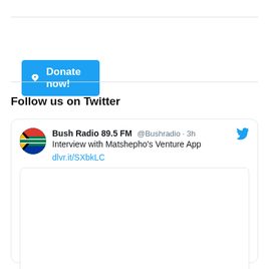[Figure (other): Blue 'Donate now!' button with a heart/pin icon on the left]
Follow us on Twitter
[Figure (screenshot): Embedded tweet from Bush Radio 89.5 FM (@Bushradio) posted 3h ago. Text: 'Interview with Matshepho's Venture App dlvr.it/SXbkLC'. Includes a Twitter bird icon and an avatar with South African flag. Below the tweet text is an empty rounded-rectangle image box.]